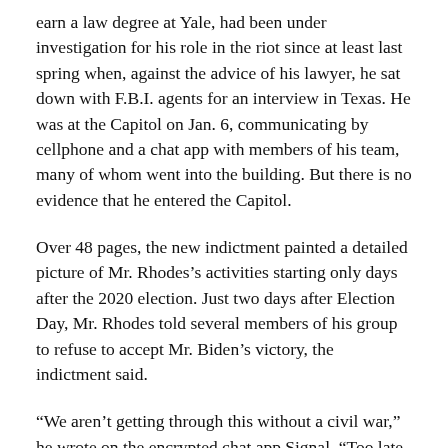earn a law degree at Yale, had been under investigation for his role in the riot since at least last spring when, against the advice of his lawyer, he sat down with F.B.I. agents for an interview in Texas. He was at the Capitol on Jan. 6, communicating by cellphone and a chat app with members of his team, many of whom went into the building. But there is no evidence that he entered the Capitol.
Over 48 pages, the new indictment painted a detailed picture of Mr. Rhodes’s activities starting only days after the 2020 election. Just two days after Election Day, Mr. Rhodes told several members of his group to refuse to accept Mr. Biden’s victory, the indictment said.
“We aren’t getting through this without a civil war,” he wrote on the encrypted chat app Signal. “Too late for that. Prepare your mind, body, spirit.”